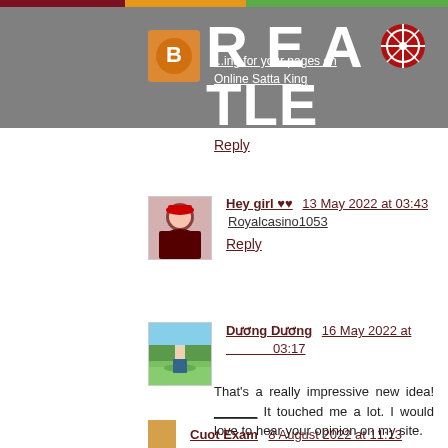REACTLE - blog comment section header
... for your pages on Online Satta King
Reply
Hey girl ♥♥  13 May 2022 at 03:43
Royalcasino1053
Reply
Dương Dương  16 May 2022 at 03:17
That's a really impressive new idea! ______  It touched me a lot. I would love to hear your opinion on my site. Please come to the site I run once and leave a comment. Thank you.
Reply
Cuot Exam  8 August 2022 at 11:13